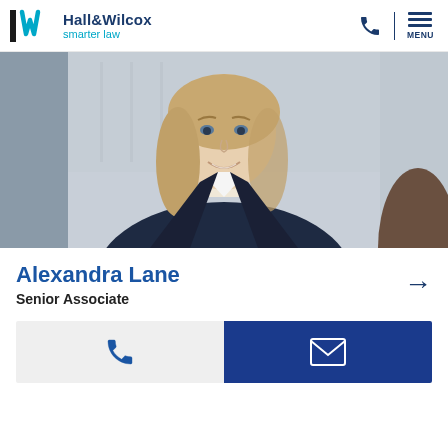Hall&Wilcox smarter law
[Figure (photo): Professional headshot of Alexandra Lane, a young woman with long blonde hair, smiling, wearing a dark navy blazer over a white top, photographed in an office setting with blurred background.]
Alexandra Lane
Senior Associate
[Figure (infographic): Two contact buttons side by side: a light gray button with a phone icon on the left, and a dark blue button with an envelope/email icon on the right.]